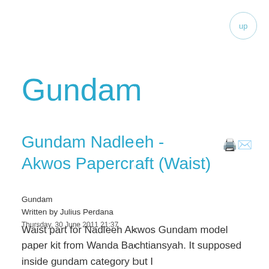up
Gundam
Gundam Nadleeh - Akwos Papercraft (Waist)
Gundam
Written by Julius Perdana
Thursday, 30 June 2011 21:37
Waist part for Nadleeh Akwos Gundam model paper kit from Wanda Bachtiansyah. It supposed inside gundam category but I